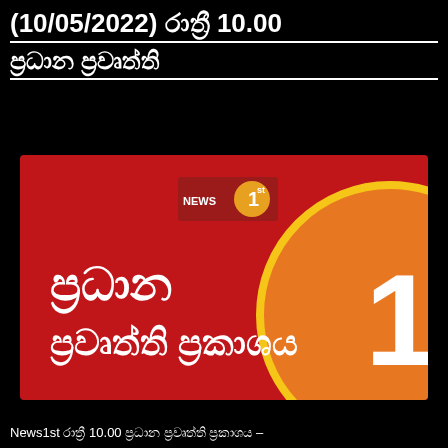(10/05/2022) රාත්‍රී 10.00 ප්‍රධාන ප්‍රවෘත්ති
[Figure (illustration): News 1st TV channel thumbnail showing Sinhala text 'ප්‍රධාන ප්‍රවෘත්ති ප්‍රකාශය' (Main News Bulletin) with the number 10 on an orange circle, on a red background with News 1st logo]
News1st රාත්‍රී 10.00 ප්‍රධාන ප්‍රවෘත්ති ප්‍රකාශය –